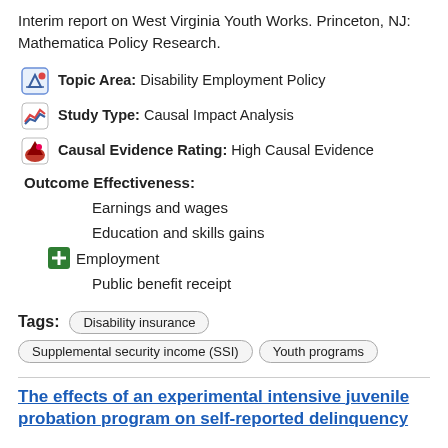Interim report on West Virginia Youth Works. Princeton, NJ: Mathematica Policy Research.
Topic Area: Disability Employment Policy
Study Type: Causal Impact Analysis
Causal Evidence Rating: High Causal Evidence
Outcome Effectiveness:
Earnings and wages
Education and skills gains
Employment
Public benefit receipt
Tags: Disability insurance | Supplemental security income (SSI) | Youth programs
The effects of an experimental intensive juvenile probation program on self-reported delinquency